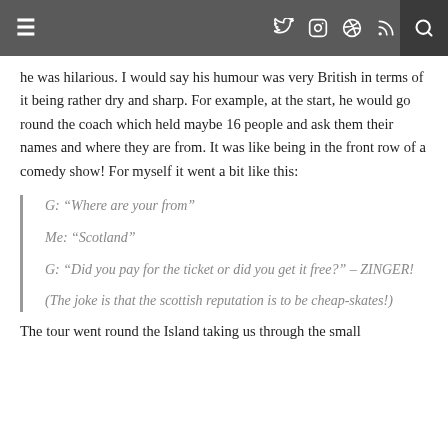≡  [twitter] [instagram] [pinterest] [rss]  [search]
he was hilarious. I would say his humour was very British in terms of it being rather dry and sharp. For example, at the start, he would go round the coach which held maybe 16 people and ask them their names and where they are from. It was like being in the front row of a comedy show! For myself it went a bit like this:
G: “Where are your from”
Me: “Scotland”
G: “Did you pay for the ticket or did you get it free?” – ZINGER!
(The joke is that the scottish reputation is to be cheap-skates!)
The tour went round the Island taking us through the small